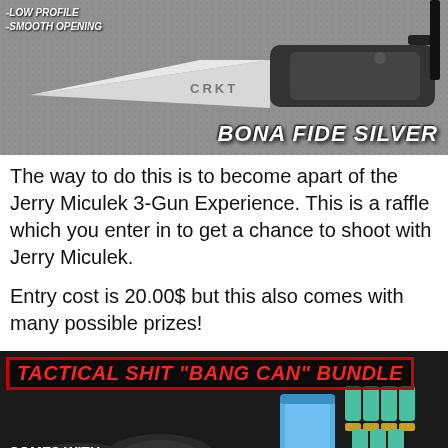[Figure (photo): Photo of a CRKT Bona Fide Silver folding knife on a textured surface. Text overlaid: '-LOW PROFILE', '-SMOOTH OPENING', and 'BONA FIDE SILVER' in bold italic white text.]
The way to do this is to become apart of the Jerry Miculek 3-Gun Experience. This is a raffle which you enter in to get a chance to shoot with Jerry Miculek.
Entry cost is 20.00$ but this also comes with many possible prizes!
[Figure (photo): Photo of a Tactical Shit 'Bang Can' Bundle. Title in red italic bold text: TACTICAL SHIT "BANG CAN" BUNDLE. Text overlay: 'COMES WITH', 'TACTICAL SHIT REUSABLE "BANG CAN"', 'FIRE FOR EFFECT CUSTOM MADE HOLSTER', 'TEN 12 GAUGE SHOTGUN BLANKS'. Shows a blue canister and shotgun shells.]
• Your own Mossberg JM Pro 940 shotgun signed by Jerry Miculek!
• A private lesson on the range with Jerry on May